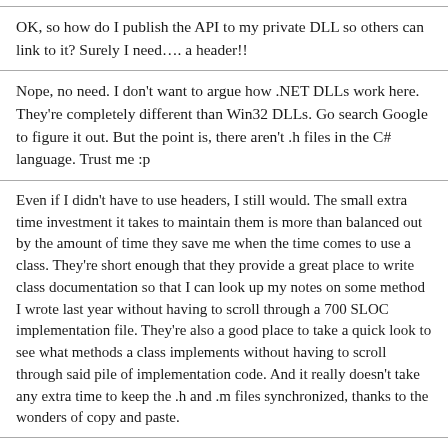OK, so how do I publish the API to my private DLL so others can link to it? Surely I need…. a header!!
Nope, no need. I don't want to argue how .NET DLLs work here. They're completely different than Win32 DLLs. Go search Google to figure it out. But the point is, there aren't .h files in the C# language. Trust me :p
Even if I didn't have to use headers, I still would. The small extra time investment it takes to maintain them is more than balanced out by the amount of time they save me when the time comes to use a class. They're short enough that they provide a great place to write class documentation so that I can look up my notes on some method I wrote last year without having to scroll through a 700 SLOC implementation file. They're also a good place to take a quick look to see what methods a class implements without having to scroll through said pile of implementation code. And it really doesn't take any extra time to keep the .h and .m files synchronized, thanks to the wonders of copy and paste.
Also...